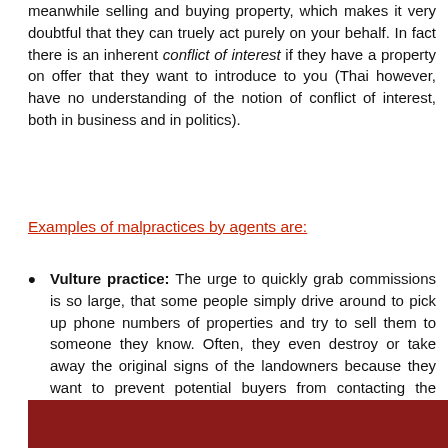meanwhile selling and buying property, which makes it very doubtful that they can truely act purely on your behalf. In fact there is an inherent conflict of interest if they have a property on offer that they want to introduce to you (Thai however, have no understanding of the notion of conflict of interest, both in business and in politics).
Examples of malpractices by agents are:
Vulture practice: The urge to quickly grab commissions is so large, that some people simply drive around to pick up phone numbers of properties and try to sell them to someone they know. Often, they even destroy or take away the original signs of the landowners because they want to prevent potential buyers from contacting the owner by themselves.
[Figure (photo): A dark red/maroon banner or image at the bottom of the page, partially visible.]